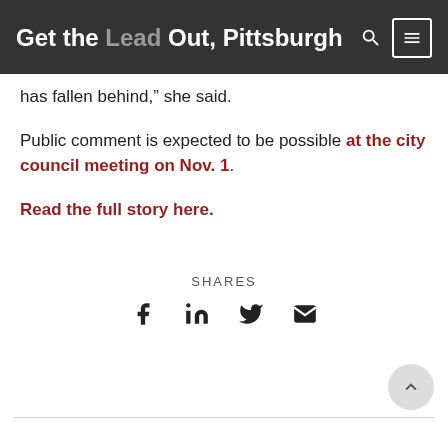Get the Lead Out, Pittsburgh
has fallen behind,” she said.
Public comment is expected to be possible at the city council meeting on Nov. 1.
Read the full story here.
SHARES